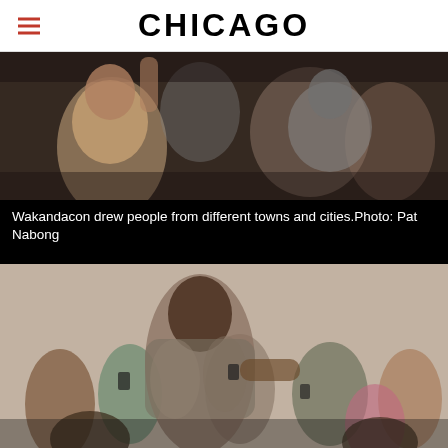CHICAGO
[Figure (photo): Crowd of people at Wakandacon convention, audience members seated and raising arms, taking photos with phones]
Wakandacon drew people from different towns and cities.Photo: Pat Nabong
[Figure (photo): A person in a fur and leather costume at Wakandacon posing before a crowd of onlookers taking photos with phones]